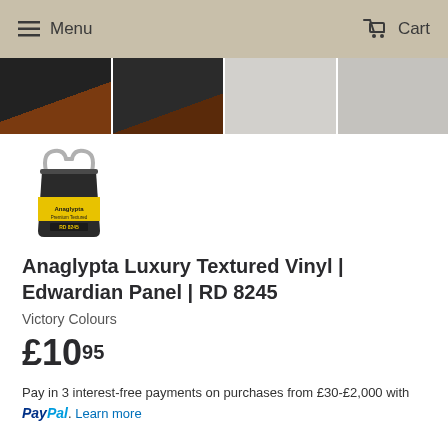Menu   Cart
[Figure (photo): Four thumbnail images showing wallpaper products: dark panel with wood, dark panel, white textured panel, white raised panel]
[Figure (photo): A bucket/tub of Anaglypta paste or adhesive product with yellow and black label]
Anaglypta Luxury Textured Vinyl | Edwardian Panel | RD 8245
Victory Colours
£10.95
Pay in 3 interest-free payments on purchases from £30-£2,000 with PayPal. Learn more